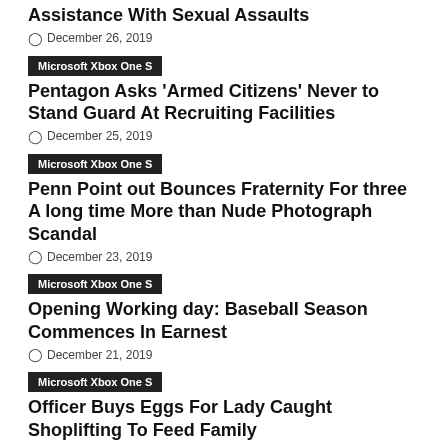Assistance With Sexual Assaults
December 26, 2019
Microsoft Xbox One S
Pentagon Asks 'Armed Citizens' Never to Stand Guard At Recruiting Facilities
December 25, 2019
Microsoft Xbox One S
Penn Point out Bounces Fraternity For three A long time More than Nude Photograph Scandal
December 23, 2019
Microsoft Xbox One S
Opening Working day: Baseball Season Commences In Earnest
December 21, 2019
Microsoft Xbox One S
Officer Buys Eggs For Lady Caught Shoplifting To Feed Family